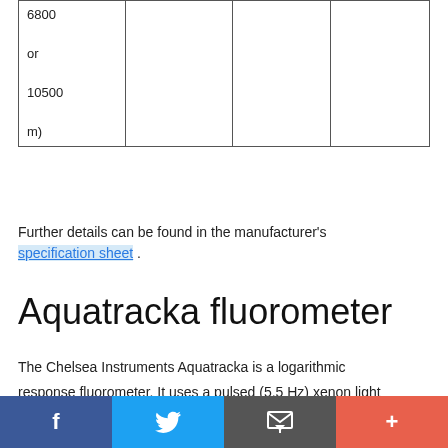| 6800
or
10500
m) |  |  |  |
Further details can be found in the manufacturer's specification sheet .
Aquatracka fluorometer
The Chelsea Instruments Aquatracka is a logarithmic response fluorometer. It uses a pulsed (5.5 Hz) xenon light source discharging between 320 and 800 nm through a blue filter with a peak transmission of 420 nm and a bandwidth at half maximum of 100 nm. A red filter with sharp cut off 10%
Social sharing buttons: Facebook, Twitter, Email, Plus